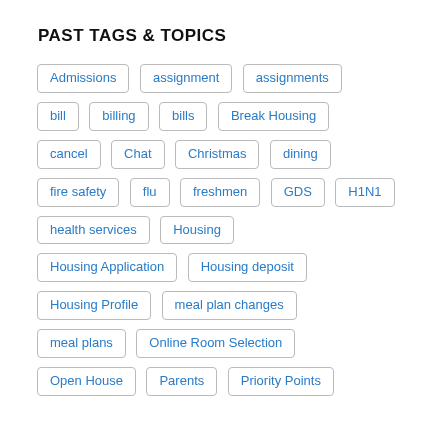PAST TAGS & TOPICS
Admissions
assignment
assignments
bill
billing
bills
Break Housing
cancel
Chat
Christmas
dining
fire safety
flu
freshmen
GDS
H1N1
health services
Housing
Housing Application
Housing deposit
Housing Profile
meal plan changes
meal plans
Online Room Selection
Open House
Parents
Priority Points